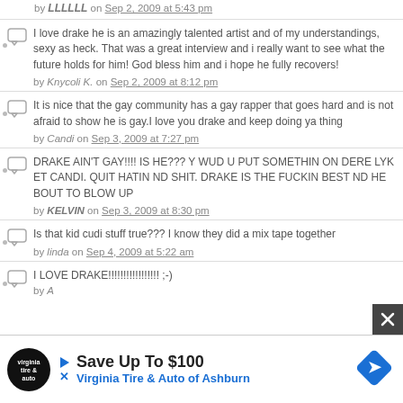by LLLLLL on Sep 2, 2009 at 5:43 pm
I love drake he is an amazingly talented artist and of my understandings, sexy as heck. That was a great interview and i really want to see what the future holds for him! God bless him and i hope he fully recovers!
by Knycoli K. on Sep 2, 2009 at 8:12 pm
It is nice that the gay community has a gay rapper that goes hard and is not afraid to show he is gay.I love you drake and keep doing ya thing
by Candi on Sep 3, 2009 at 7:27 pm
DRAKE AIN'T GAY!!!! IS HE??? Y WUD U PUT SOMETHIN ON DERE LYK ET CANDI. QUIT HATIN ND SHIT. DRAKE IS THE FUCKIN BEST ND HE BOUT TO BLOW UP
by KELVIN on Sep 3, 2009 at 8:30 pm
Is that kid cudi stuff true??? I know they did a mix tape together
by linda on Sep 4, 2009 at 5:22 am
I LOVE DRAKE!!!!!!!!!!!!!!!!! ;-)
[Figure (infographic): Advertisement banner: Save Up To $100 Virginia Tire & Auto of Ashburn with logo and diamond arrow icon]